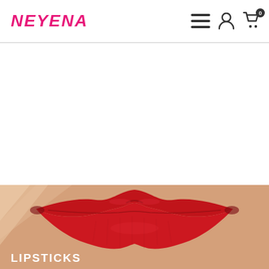NEYENA
[Figure (photo): Close-up photo of lips wearing bold red lipstick on a beige/skin-tone background with diagonal light stripes in the upper left corner]
LIPSTICKS